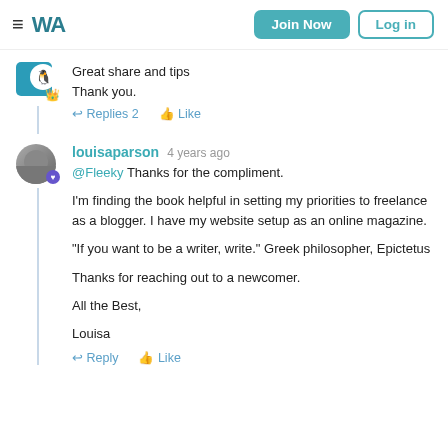[Figure (screenshot): Wealthy Affiliate website header with hamburger menu, WA logo, Join Now button, and Log in button]
Great share and tips
Thank you.
Replies 2   Like
louisaparson  4 years ago
@Fleeky Thanks for the compliment.

I'm finding the book helpful in setting my priorities to freelance as a blogger. I have my website setup as an online magazine.

"If you want to be a writer, write." Greek philosopher, Epictetus

Thanks for reaching out to a newcomer.

All the Best,

Louisa
Reply   Like